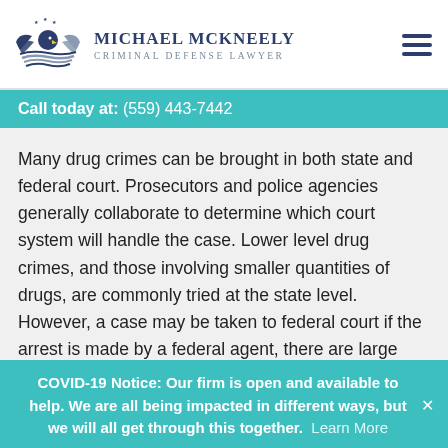[Figure (logo): Michael McKneely Criminal Defense Lawyer logo with eagle and wings]
Call today at: (559) 443-7442
Many drug crimes can be brought in both state and federal court. Prosecutors and police agencies generally collaborate to determine which court system will handle the case. Lower level drug crimes, and those involving smaller quantities of drugs, are commonly tried at the state level. However, a case may be taken to federal court if the arrest is made by a federal agent, there are large quantities of drugs involved, the crime falls within federal jurisdiction,
COVID-19 Notice: Our firm is open and available to help. We are all being impacted in different ways, but we will all get through this together. Learn More